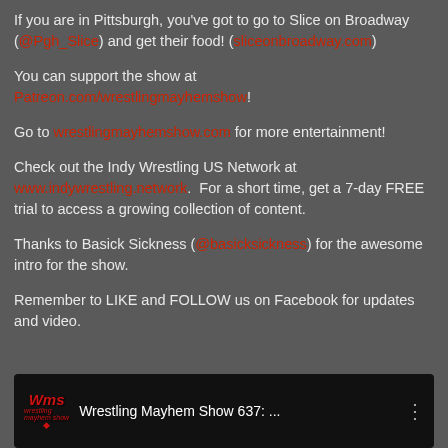If you are in Pittsburgh, you've got to go to Slice on Broadway (@Pgh_Slice) and get their food! (sliceonbroadway.com)
You can support the show at Patreon.com/wrestlingmayhemshow!
Go to wrestlingmayhemshow.com for more entertainment!
Check out the Indy Wrestling US Network at www.indywrestling.network. For a short time, get a 7-day FREE trial to access a growing collection of content.
Thanks to Basick Sickness (@basicksickness) for the awesome intro for the show.
Remember to LIKE and FOLLOW us on Facebook for updates and video.
[Figure (screenshot): Video thumbnail with WmS logo and text 'Wrestling Mayhem Show 637: ...' on black background with three-dot menu icon]